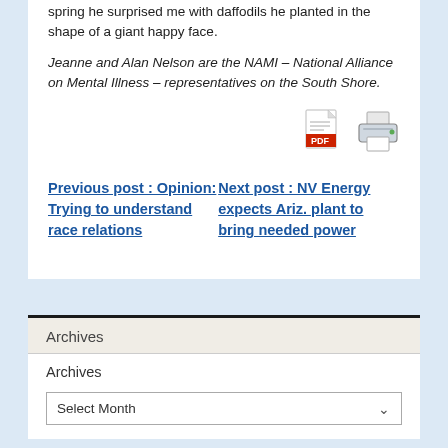spring he surprised me with daffodils he planted in the shape of a giant happy face.
Jeanne and Alan Nelson are the NAMI – National Alliance on Mental Illness – representatives on the South Shore.
[Figure (other): PDF icon and printer icon]
Previous post : Opinion: Trying to understand race relations
Next post : NV Energy expects Ariz. plant to bring needed power
Archives
Archives
Select Month